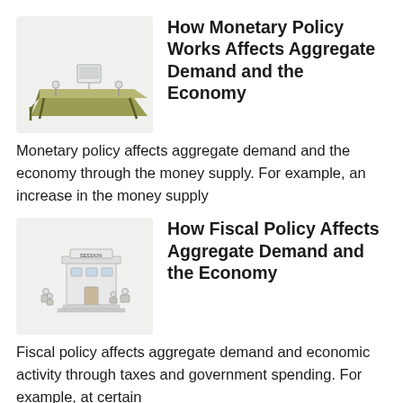[Figure (illustration): A simple cartoon-style illustration of a flat surface (olive-green colored table/platform) with small figure-like objects and what appears to be a screen or board.]
How Monetary Policy Works Affects Aggregate Demand and the Economy
Monetary policy affects aggregate demand and the economy through the money supply. For example, an increase in the money supply
[Figure (illustration): A simple cartoon-style illustration of a building labeled 'SESSION' with chairs and figures arranged outside, resembling a government or legislative building.]
How Fiscal Policy Affects Aggregate Demand and the Economy
Fiscal policy affects aggregate demand and economic activity through taxes and government spending. For example, at certain